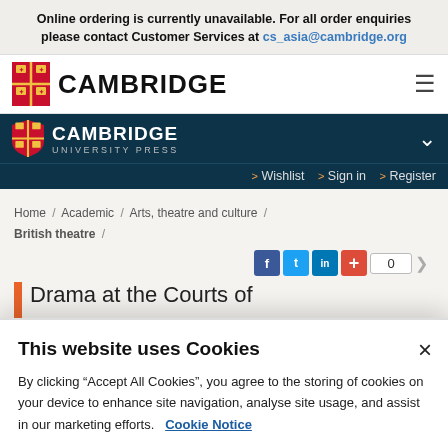Online ordering is currently unavailable. For all order enquiries please contact Customer Services at cs_asia@cambridge.org
[Figure (logo): Cambridge University logo with shield and CAMBRIDGE text]
[Figure (logo): Cambridge University Press dark teal banner with shield logo]
> Wishlist  > Sign in  > Register
Home / Academic / Arts, theatre and culture / British theatre /
Social share buttons: Facebook, Twitter, LinkedIn, plus button, count 0
Drama at the Courts of
This website uses Cookies
By clicking “Accept All Cookies”, you agree to the storing of cookies on your device to enhance site navigation, analyse site usage, and assist in our marketing efforts.   Cookie Notice